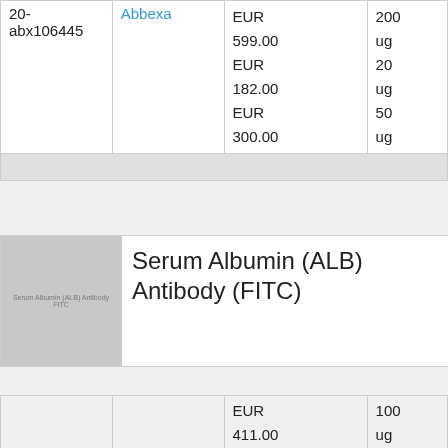| ID | Supplier | Price | Quantity |
| --- | --- | --- | --- |
| 20-abx106445 | Abbexa | EUR 599.00
EUR 182.00
EUR 300.00 | 200 ug
20 ug
50 ug |
[Figure (photo): Serum Albumin (ALB) Antibody FITC product image placeholder (gray box with label text)]
Serum Albumin (ALB) Antibody (FITC)
| ID | Supplier | Price | Quantity |
| --- | --- | --- | --- |
|  |  | EUR 411.00 | 100 ug |